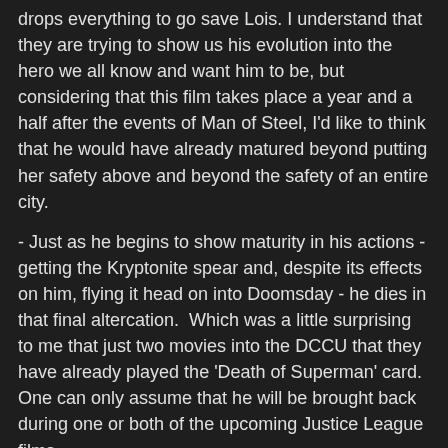drops everything to go save Lois. I understand that they are trying to show us his evolution into the hero we all know and want him to be, but considering that this film takes place a year and a half after the events of Man of Steel, I'd like to think that he would have already matured beyond putting her safety above and beyond the safety of an entire city.
- Just as he begins to show maturity in his actions - getting the Kryptonite spear and, despite its effects on him, flying it head on into Doomsday - he dies in that final altercation. Which was a little surprising to me that just two movies into the DCCU that they have already played the 'Death of Superman' card. One can only assume that he will be brought back during one or both of the upcoming Justice League films.
- Comic book story lines that I recognized as having parts or elements adapted in this film:
'Batman: The Dark Knight' (1986) by Frank Miller